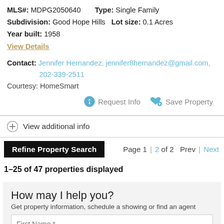MLS#: MDPG2050640   Type: Single Family
Subdivision: Good Hope Hills   Lot size: 0.1 Acres
Year built: 1958
View Details
Contact: Jennifer Hernandez, jennifer8hernandez@gmail.com, 202-339-2511
Courtesy: HomeSmart
Request Info   Save Property
View additional info
Refine Property Search   Page 1 | 2 of 2   Prev | Next
1–25 of 47 properties displayed
How may I help you?
Get property information, schedule a showing or find an agent
First Name *